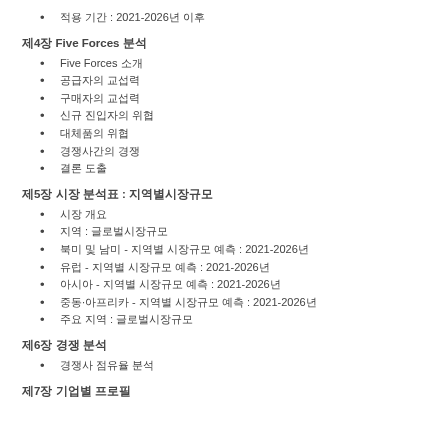적용 기간 : 2021-2026년 이후
제4장 Five Forces 분석
Five Forces 소개
공급자의 교섭력
구매자의 교섭력
신규 진입자의 위협
대체품의 위협
경쟁사간의 경쟁
결론 도출
제5장 시장 분석표 : 지역별시장규모
시장 개요
지역 : 글로벌시장규모
북미 및 남미 - 지역별 시장규모 예측 : 2021-2026년
유럽 - 지역별 시장규모 예측 : 2021-2026년
아시아 - 지역별 시장규모 예측 : 2021-2026년
중동·아프리카 - 지역별 시장규모 예측 : 2021-2026년
주요 지역 : 글로벌시장규모
제6장 경쟁 분석
경쟁사 점유율 분석
제7장 기업별 프로필